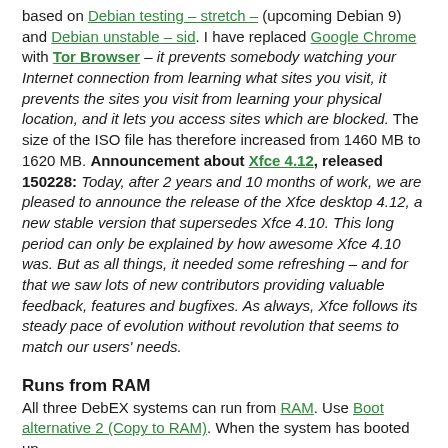based on Debian testing – stretch – (upcoming Debian 9) and Debian unstable – sid. I have replaced Google Chrome with Tor Browser – it prevents somebody watching your Internet connection from learning what sites you visit, it prevents the sites you visit from learning your physical location, and it lets you access sites which are blocked. The size of the ISO file has therefore increased from 1460 MB to 1620 MB. Announcement about Xfce 4.12, released 150228: Today, after 2 years and 10 months of work, we are pleased to announce the release of the Xfce desktop 4.12, a new stable version that supersedes Xfce 4.10. This long period can only be explained by how awesome Xfce 4.10 was. But as all things, it needed some refreshing – and for that we saw lots of new contributors providing valuable feedback, features and bugfixes. As always, Xfce follows its steady pace of evolution without revolution that seems to match our users' needs.
Runs from RAM
All three DebEX systems can run from RAM. Use Boot alternative 2 (Copy to RAM). When the system has booted up